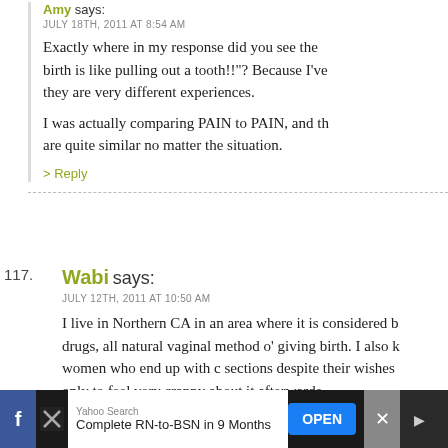Amy says:
JULY 18TH, 2011 AT 8:54 AM
Exactly where in my response did you see the birth is like pulling out a tooth!!'? Because I've they are very different experiences.
I was actually comparing PAIN to PAIN, and th are quite similar no matter the situation.
> Reply
117. Wabi says:
JULY 12TH, 2011 AT 10:50 AM
I live in Northern CA in an area where it is considered b drugs, all natural vaginal method o' giving birth. I also k women who end up with c sections despite their wishes only to feel very crappy about it afterwards.
My first pregnancy was fairly uneventful and ended wit delivery. I thought a lot about the birth ahead of time a control it as much as possible. After that I lost a pregna
[Figure (other): Advertisement bar at bottom: Yahoo Search - Complete RN-to-BSN in 9 Months - OPEN button]